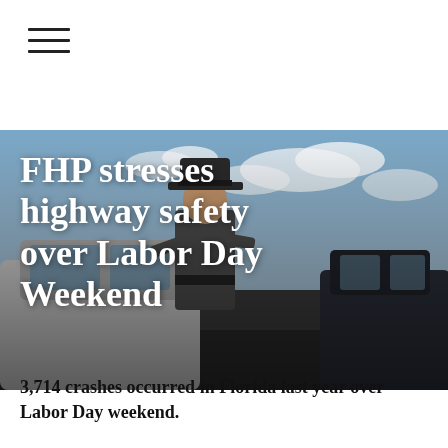[Figure (other): Hamburger navigation menu icon (three horizontal lines)]
[Figure (photo): A Florida Highway Patrol trooper in uniform and campaign hat leaning into a car window during a traffic stop, with police vehicles in background under cloudy sky]
FHP stresses highway safety over Labor Day Weekend
3,714 crashes occurred in Florida last year over Labor Day weekend.